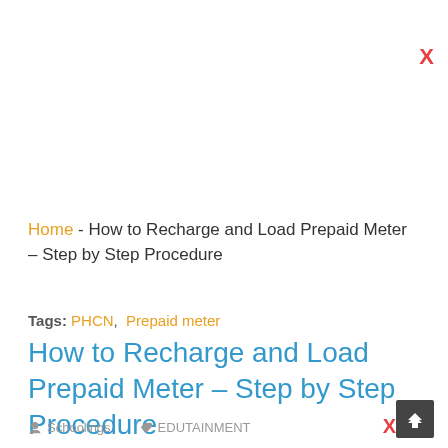X
Home - How to Recharge and Load Prepaid Meter – Step by Step Procedure
Tags: PHCN,  Prepaid meter
How to Recharge and Load Prepaid Meter – Step by Step Procedure
Schoolings  EDUTAINMENT